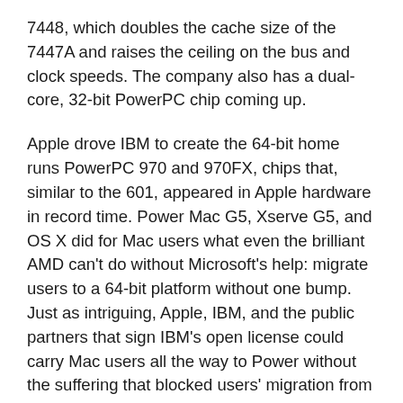7448, which doubles the cache size of the 7447A and raises the ceiling on the bus and clock speeds. The company also has a dual-core, 32-bit PowerPC chip coming up.
Apple drove IBM to create the 64-bit home runs PowerPC 970 and 970FX, chips that, similar to the 601, appeared in Apple hardware in record time. Power Mac G5, Xserve G5, and OS X did for Mac users what even the brilliant AMD can't do without Microsoft's help: migrate users to a 64-bit platform without one bump. Just as intriguing, Apple, IBM, and the public partners that sign IBM's open license could carry Mac users all the way to Power without the suffering that blocked users' migration from x86 to Itanium.
PowerPC and Power form a continuum of